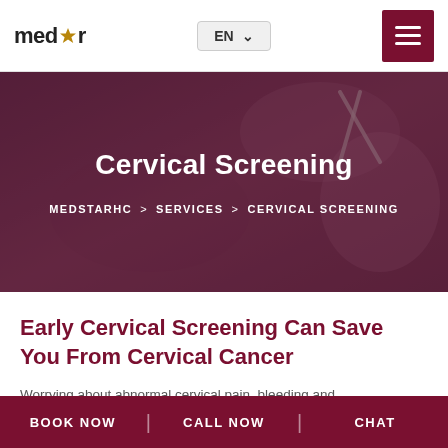medstar | EN | hamburger menu
[Figure (photo): Medical/surgical procedure photo with blue-gloved hands holding scissors, overlaid with dark maroon tint]
Cervical Screening
MEDSTARHC > SERVICES > CERVICAL SCREENING
Early Cervical Screening Can Save You From Cervical Cancer
Worrying about abnormal cervical pain, bleeding and
BOOK NOW | CALL NOW | CHAT